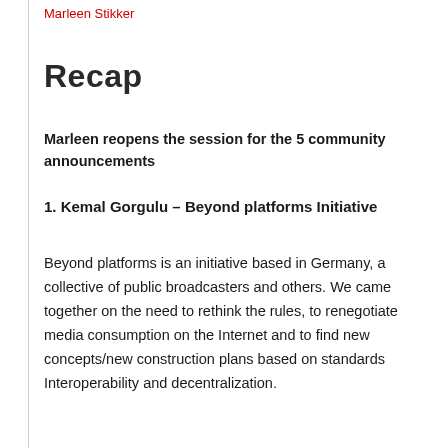Marleen Stikker
Recap
Marleen reopens the session for the 5 community announcements
1. Kemal Gorgulu – Beyond platforms Initiative
Beyond platforms is an initiative based in Germany, a collective of public broadcasters and others. We came together on the need to rethink the rules, to renegotiate media consumption on the Internet and to find new concepts/new construction plans based on standards Interoperability and decentralization.